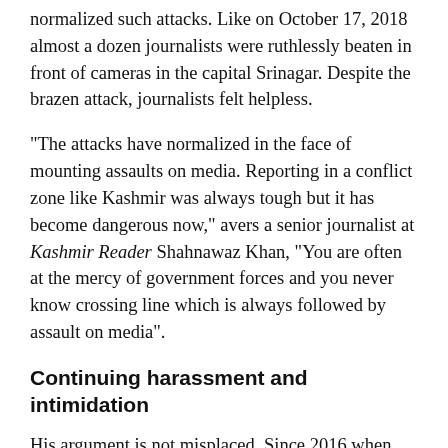normalized such attacks. Like on October 17, 2018 almost a dozen journalists were ruthlessly beaten in front of cameras in the capital Srinagar. Despite the brazen attack, journalists felt helpless.
“The attacks have normalized in the face of mounting assaults on media. Reporting in a conflict zone like Kashmir was always tough but it has become dangerous now,” avers a senior journalist at Kashmir Reader Shahnawaz Khan, “You are often at the mercy of government forces and you never know crossing line which is always followed by assault on media”.
Continuing harassment and intimidation
His argument is not misplaced. Since 2016 when public uprising broke out in the region, the government overtly as well as covertly pulled up the media in Kashmir, blaming it for incitements. On October 2, coincidentally Gandhi Jayanti (the birth